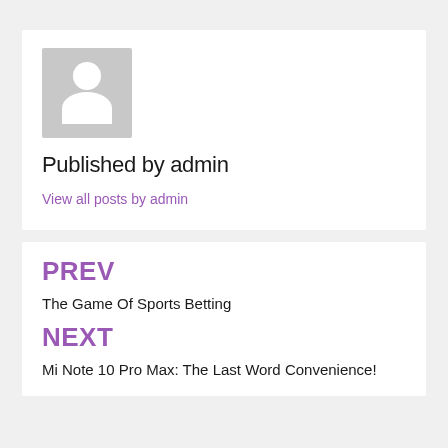[Figure (illustration): Gray placeholder avatar image with white silhouette of a person (head and shoulders)]
Published by admin
View all posts by admin
PREV
The Game Of Sports Betting
NEXT
Mi Note 10 Pro Max: The Last Word Convenience!